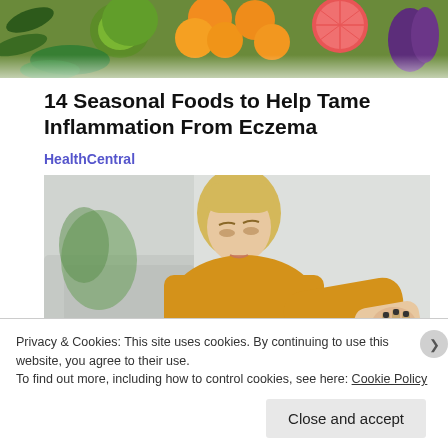[Figure (photo): Colorful fruits and vegetables including oranges, kiwi, grapefruit, and leafy greens arranged flat on a surface]
14 Seasonal Foods to Help Tame Inflammation From Eczema
HealthCentral
[Figure (photo): Blonde woman in yellow sweater looking down at her arm, appearing to scratch or examine skin irritation, sitting indoors]
Privacy & Cookies: This site uses cookies. By continuing to use this website, you agree to their use.
To find out more, including how to control cookies, see here: Cookie Policy
Close and accept